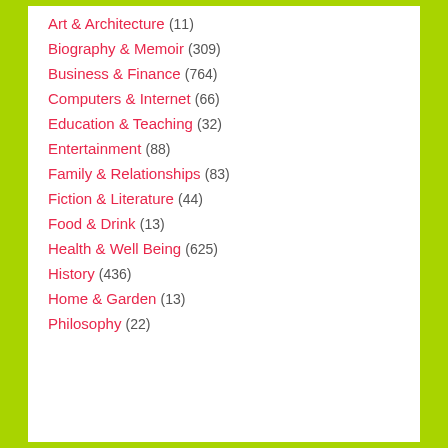Art & Architecture (11)
Biography & Memoir (309)
Business & Finance (764)
Computers & Internet (66)
Education & Teaching (32)
Entertainment (88)
Family & Relationships (83)
Fiction & Literature (44)
Food & Drink (13)
Health & Well Being (625)
History (436)
Home & Garden (13)
Philosophy (22)